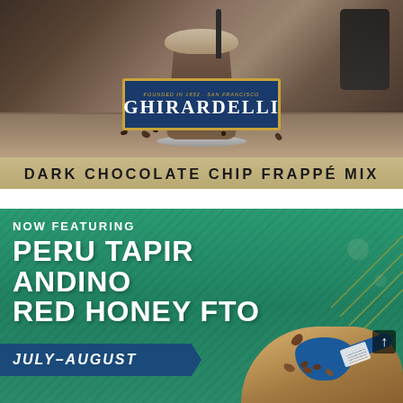[Figure (photo): Ghirardelli Dark Chocolate Chip Frappé Mix advertisement showing a chocolate frappé drink with the Ghirardelli logo badge and coffee accessories on a wooden surface]
DARK CHOCOLATE CHIP FRAPPÉ MIX
[Figure (photo): Coffee advertisement on teal/green background featuring 'Now Featuring Peru Tapir Andino Red Honey FTO' with coffee beans and blue scoop, July-August promotion]
NOW FEATURING
PERU TAPIR ANDINO RED HONEY FTO
JULY-AUGUST